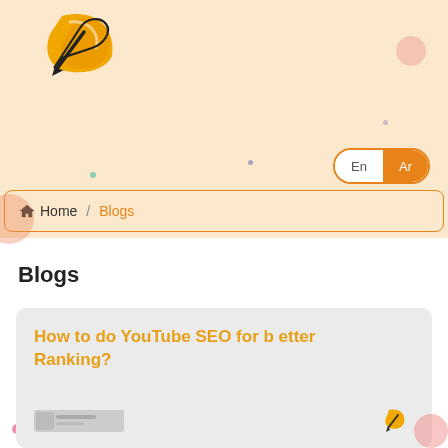[Figure (logo): Company logo — yellow/orange stylized letter or symbol with black quill/pen mark]
Home / Blogs
Blogs
How to do YouTube SEO for better Ranking?